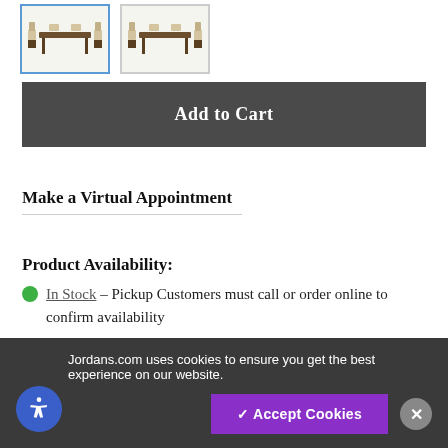[Figure (photo): Two thumbnail images of a dining room furniture set (table with chairs), first one with blue border selected, second with grey border]
Add to Cart
Make a Virtual Appointment
Product Availability:
In Stock – Pickup Customers must call or order online to confirm availability
Jordans.com uses cookies to ensure you get the best experience on our website.
✓ Accept Cookies
Details